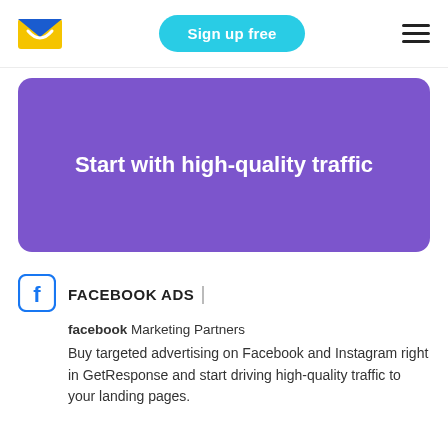[Figure (logo): GetResponse envelope logo — blue and yellow envelope icon]
Sign up free
[Figure (other): Hamburger menu icon with three horizontal lines]
Start with high-quality traffic
FACEBOOK ADS
facebook Marketing Partners
Buy targeted advertising on Facebook and Instagram right in GetResponse and start driving high-quality traffic to your landing pages.